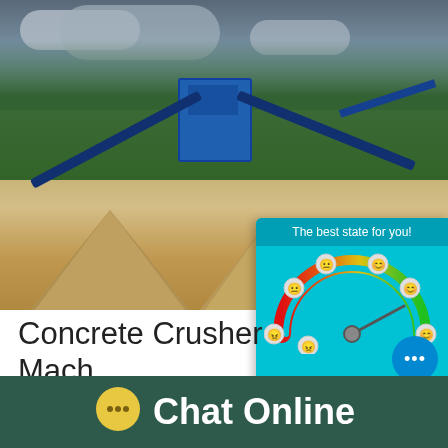[Figure (photo): Outdoor concrete crusher / aggregate processing plant with blue conveyor belts and machinery, gravel piles, palm trees in background, cloudy sky]
[Figure (infographic): Chat popup overlay showing 'The best state for you!' with a colorful gauge/speedometer dial (red to green) surrounded by emoji faces, and a 'Click me to chat >>' button and Enquiry tab]
Concrete Crusher Machi... - Shopping
Bosch 12.5 Amp Corded 5 In. Concrete Surfa...
[Figure (infographic): Footer bar with yellow chat bubble icon and 'Chat Online' text on dark green background]